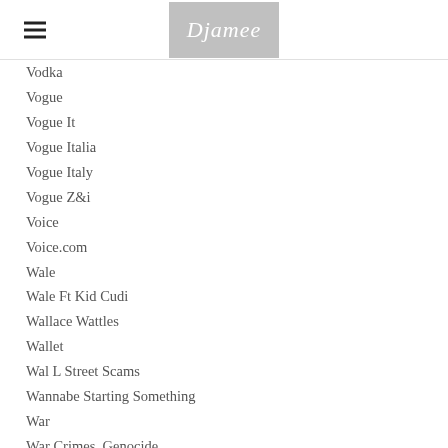Djamee
Vodka
Vogue
Vogue It
Vogue Italia
Vogue Italy
Vogue Z&i
Voice
Voice.com
Wale
Wale Ft Kid Cudi
Wallace Wattles
Wallet
Wal L Street Scams
Wannabe Starting Something
War
War Crimes. Genocide
Washable Silks